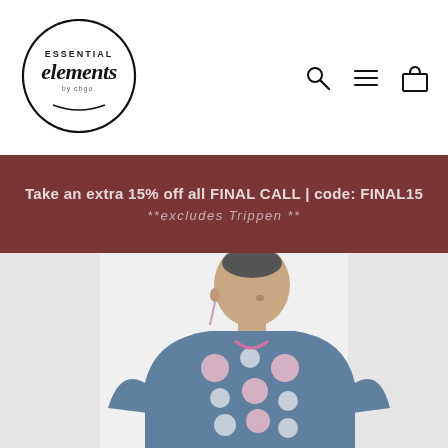[Figure (logo): Essential elements by chgo logo in a hand-drawn circle]
[Figure (illustration): Navigation icons: search magnifying glass, hamburger menu, and shopping bag/cart]
Take an extra 15% off all FINAL CALL | code: FINAL15
**excludes Trippen **
[Figure (photo): Woman wearing a blue top with pink and white polka dots, looking to the side]